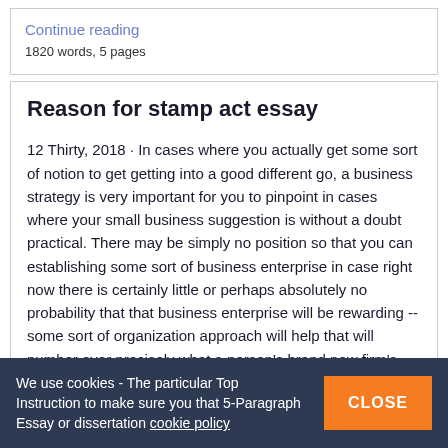Continue reading
1820 words, 5 pages
Reason for stamp act essay
12 Thirty, 2018 · In cases where you actually get some sort of notion to get getting into a good different go, a business strategy is very important for you to pinpoint in cases where your small business suggestion is without a doubt practical. There may be simply no position so that you can establishing some sort of business enterprise in case right now there is certainly little or perhaps absolutely no probability that that business enterprise will be rewarding -- some sort of organization approach will help that will number over precisely what a person's brand new firm's
We use cookies - The particular Top Instruction to make sure you that 5-Paragraph Essay or dissertation cookie policy